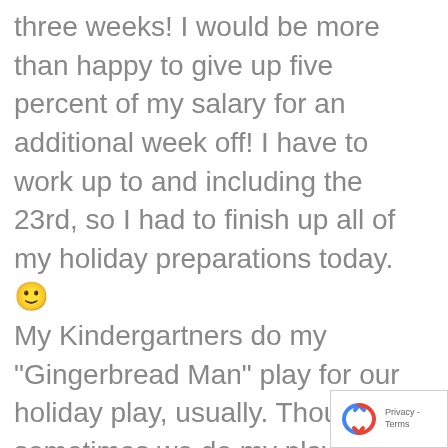three weeks! I would be more than happy to give up five percent of my salary for an additional week off! I have to work up to and including the 23rd, so I had to finish up all of my holiday preparations today. 🙂 My Kindergartners do my "Gingerbread Man" play for our holiday play, usually. Though sometimes we do my play, "The Mitten." Both are musicals. No class has to do a performance at my school. We used to be required to do it, but no longer. In fact, I originally wrote the play because i